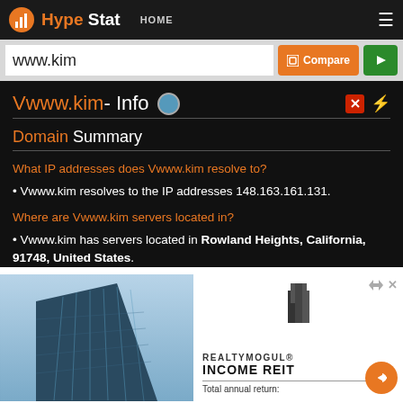HypeStat HOME
www.kim
Vwww.kim - Info
Domain Summary
What IP addresses does Vwww.kim resolve to?
• Vwww.kim resolves to the IP addresses 148.163.161.131.
Where are Vwww.kim servers located in?
• Vwww.kim has servers located in Rowland Heights, California, 91748, United States.
[Figure (advertisement): RealtyMogul Income REIT advertisement showing a modern glass office building on the left and text 'REALTYMOGUL INCOME REIT Total annual return:' on the right with a white background]